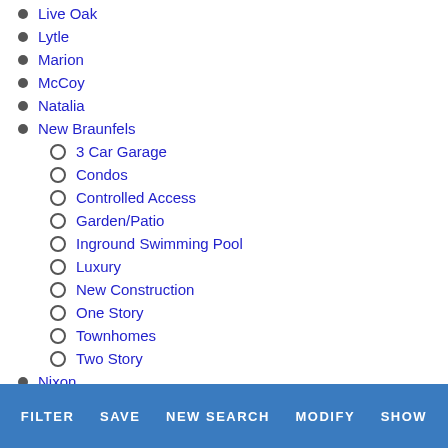Live Oak
Lytle
Marion
McCoy
Natalia
New Braunfels
3 Car Garage
Condos
Controlled Access
Garden/Patio
Inground Swimming Pool
Luxury
New Construction
One Story
Townhomes
Two Story
Nixon
Olmos Park
FILTER   SAVE   NEW SEARCH   MODIFY   SHOW